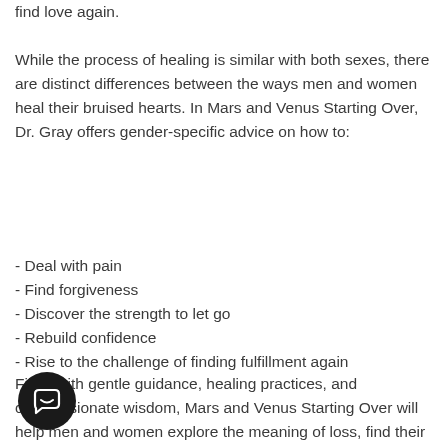find love again.
While the process of healing is similar with both sexes, there are distinct differences between the ways men and women heal their bruised hearts. In Mars and Venus Starting Over, Dr. Gray offers gender-specific advice on how to:
- Deal with pain
- Find forgiveness
- Discover the strength to let go
- Rebuild confidence
- Rise to the challenge of finding fulfillment again
Filled with gentle guidance, healing practices, and compassionate wisdom, Mars and Venus Starting Over will help men and women explore the meaning of loss, find their way through the healing process, and discover the secret to moving on.